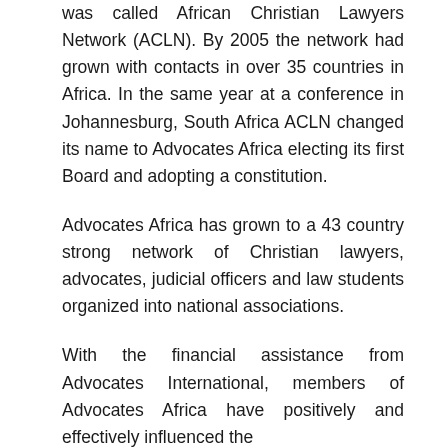was called African Christian Lawyers Network (ACLN). By 2005 the network had grown with contacts in over 35 countries in Africa. In the same year at a conference in Johannesburg, South Africa ACLN changed its name to Advocates Africa electing its first Board and adopting a constitution.
Advocates Africa has grown to a 43 country strong network of Christian lawyers, advocates, judicial officers and law students organized into national associations.
With the financial assistance from Advocates International, members of Advocates Africa have positively and effectively influenced the